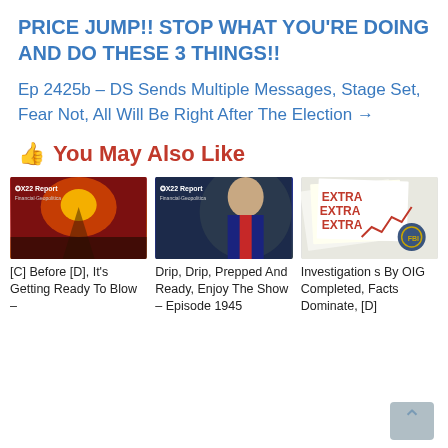PRICE JUMP!! STOP WHAT YOU'RE DOING AND DO THESE 3 THINGS!!
Ep 2425b – DS Sends Multiple Messages, Stage Set, Fear Not, All Will Be Right After The Election →
👍 You May Also Like
[Figure (photo): X22 Report thumbnail with volcanic eruption and red sky]
[C] Before [D], It's Getting Ready To Blow –
[Figure (photo): X22 Report thumbnail with Donald Trump in suit and red tie]
Drip, Drip, Prepped And Ready, Enjoy The Show – Episode 1945
[Figure (photo): Newspaper Extra headlines with FBI seal and red graph]
Investigations By OIG Completed, Facts Dominate, [D]